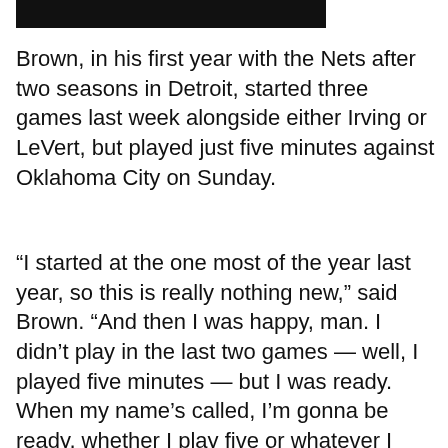[Figure (other): Black redacted bar at the top of the page]
Brown, in his first year with the Nets after two seasons in Detroit, started three games last week alongside either Irving or LeVert, but played just five minutes against Oklahoma City on Sunday.
“I started at the one most of the year last year, so this is really nothing new,” said Brown. “And then I was happy, man. I didn’t play in the last two games — well, I played five minutes — but I was ready. When my name’s called, I’m gonna be ready, whether I play five or whatever I